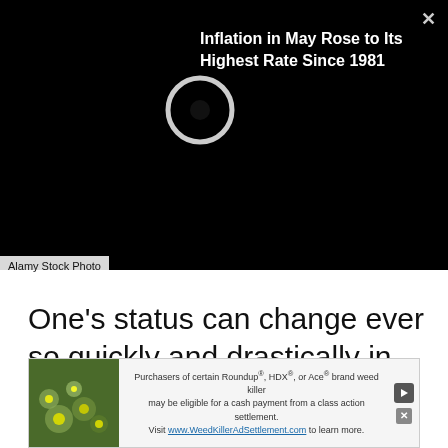[Figure (photo): Black background with a circle/ring icon, representing a loading or placeholder image overlay with a news headline overlay reading 'Inflation in May Rose to Its Highest Rate Since 1981' and a close button X]
Alamy Stock Photo
One's status can change ever so quickly and drastically in Hollywood. You never know where you're going to end up. This year he did land the role of Bill Clinton in American Crime Story, but we have yet to see that so our opinions are subject
[Figure (photo): Bottom advertisement banner: 'Purchasers of certain Roundup®, HDX®, or Ace® brand weed killer may be eligible for a cash payment from a class action settlement. Visit www.WeedKillerAdSettlement.com to learn more.' with an image of dandelions/weeds]